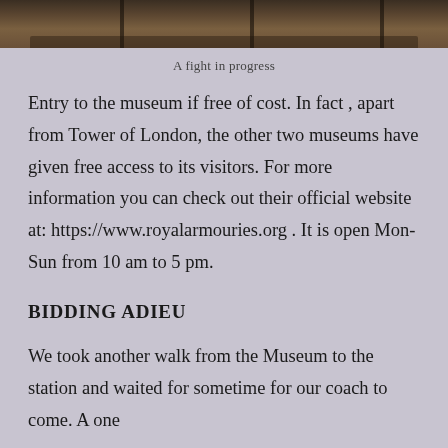[Figure (photo): Top strip showing a photograph of a fight in progress, dark brown tones with wooden beams visible]
A fight in progress
Entry to the museum if free of cost. In fact , apart from Tower of London, the other two museums have given free access to its visitors. For more information you can check out their official website at: https://www.royalarmouries.org . It is open Mon-Sun from 10 am to 5 pm.
BIDDING ADIEU
We took another walk from the Museum to the station and waited for sometime for our coach to come. A one